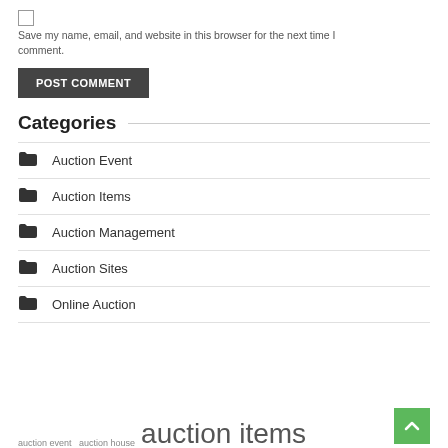Save my name, email, and website in this browser for the next time I comment.
POST COMMENT
Categories
Auction Event
Auction Items
Auction Management
Auction Sites
Online Auction
auction event  auction house  auction items